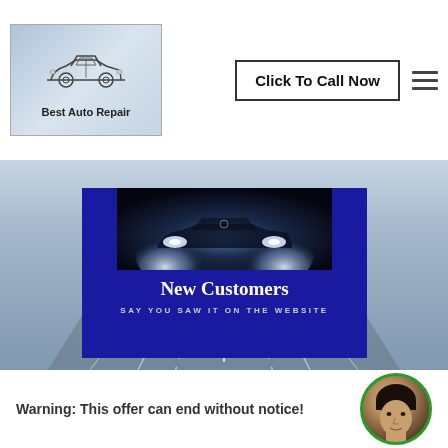[Figure (logo): Best Auto Repair logo with car sketch on blue-grey background]
Click To Call Now
[Figure (illustration): Promotional banner with car headlights photo on blue background, text 'New Customers', 'SAY YOU SAW IT ON THE WEBSITE', over misty highway background]
15% Discount On Labour
Warning: This offer can end without notice!
[Figure (photo): Avatar photo of a person with dark hair in circular green-bordered frame]